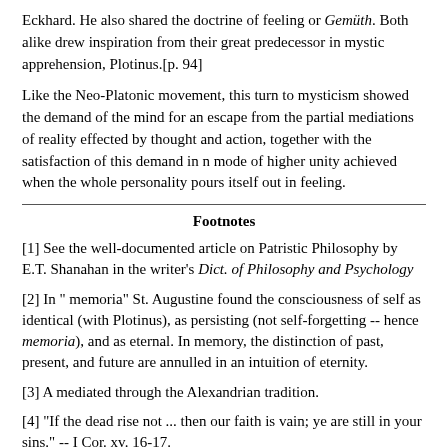Eckhard. He also shared the doctrine of feeling or Gemüth. Both alike drew inspiration from their great predecessor in mystic apprehension, Plotinus.[p. 94]
Like the Neo-Platonic movement, this turn to mysticism showed the demand of the mind for an escape from the partial mediations of reality effected by thought and action, together with the satisfaction of this demand in n mode of higher unity achieved when the whole personality pours itself out in feeling.
Footnotes
[1] See the well-documented article on Patristic Philosophy by E.T. Shanahan in the writer's Dict. of Philosophy and Psychology
[2] In " memoria" St. Augustine found the consciousness of self as identical (with Plotinus), as persisting (not self-forgetting -- hence memoria), and as eternal. In memory, the distinction of past, present, and future are annulled in an intuition of eternity.
[3] A mediated through the Alexandrian tradition.
[4] "If the dead rise not ... then our faith is vain; ye are still in your sins." -- I Cor. xv. 16-17.